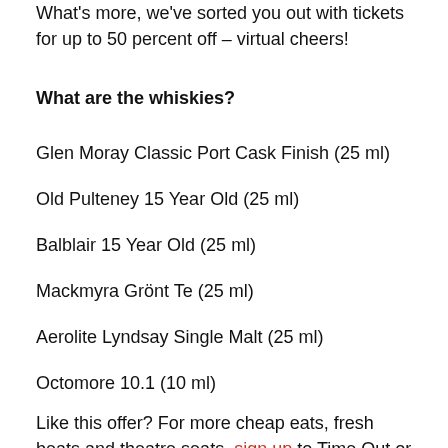What's more, we've sorted you out with tickets for up to 50 percent off – virtual cheers!
What are the whiskies?
Glen Moray Classic Port Cask Finish (25 ml)
Old Pulteney 15 Year Old (25 ml)
Balblair 15 Year Old (25 ml)
Mackmyra Grönt Te (25 ml)
Aerolite Lyndsay Single Malt (25 ml)
Octomore 10.1 (10 ml)
Like this offer? For more cheap eats, fresh beats and theatre seats, sign up to Time Out or follow us on Twitter.